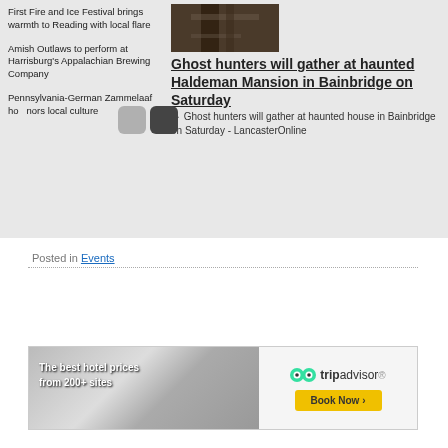First Fire and Ice Festival brings warmth to Reading with local flare
Amish Outlaws to perform at Harrisburg's Appalachian Brewing Company
Pennsylvania-German Zammelaaf honors local culture
[Figure (photo): Dark interior staircase of haunted mansion]
Ghost hunters will gather at haunted Haldeman Mansion in Bainbridge on Saturday
→ Ghost hunters will gather at haunted house in Bainbridge on Saturday - LancasterOnline
Posted in Events
[Figure (photo): TripAdvisor advertisement banner — The best hotel prices from 200+ sites. Book Now button.]